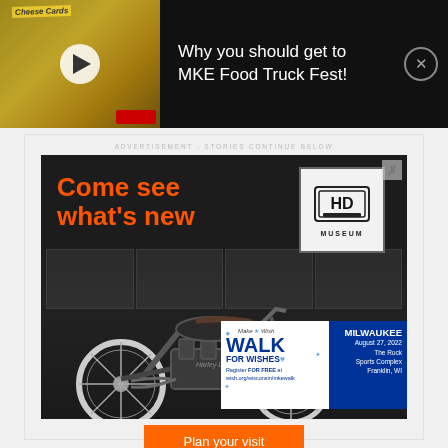[Figure (screenshot): Video thumbnail showing food truck with yellow branding and cheese cards sign, with play button overlay]
Why you should get to MKE Food Truck Fest!
ADVERTISEMENT - STORIES CONTINUE BELOW
[Figure (screenshot): Harley-Davidson Museum advertisement showing orange text 'Come see what's new', HD Museum logo, vintage motorcycle, and Plan your visit button. Overlaid with Make-A-Wish Walk for Wishes ad showing Milwaukee August 27, 2022 The Rock Sports Complex Franklin, WI Register FOR FREE at wish.org/wisconsin/mkewalk]